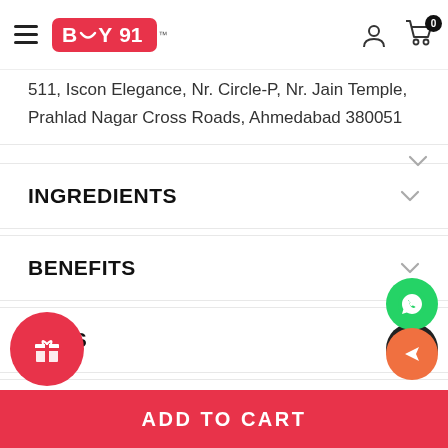BUY 91 - header navigation
511, Iscon Elegance, Nr. Circle-P, Nr. Jain Temple, Prahlad Nagar Cross Roads, Ahmedabad 380051
INGREDIENTS
BENEFITS
FAQS
HOW TO USE
ADD TO CART